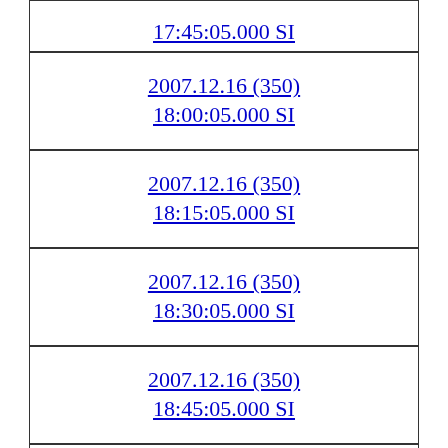2007.12.16 (350) 17:45:05.000 SI
2007.12.16 (350) 18:00:05.000 SI
2007.12.16 (350) 18:15:05.000 SI
2007.12.16 (350) 18:30:05.000 SI
2007.12.16 (350) 18:45:05.000 SI
2007.12.16 (350) 19:00:05.000 SI
2007.12.16 (350) 19:15:05.000 SI
2007.12.16 (350) 19:30:05.000 SI
2007.12.16 (350) 19:45:05.000 SI